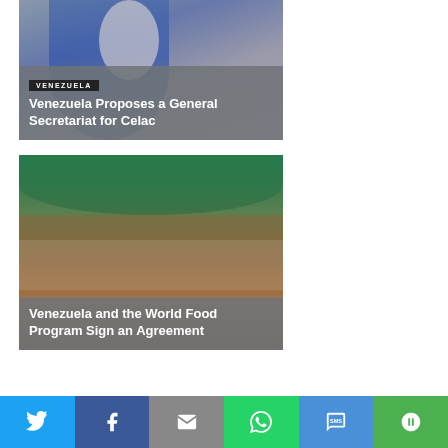[Figure (photo): Person in blue suit speaking at a podium with a microphone, with a Venezuela nameplate visible]
VENEZUELA
Venezuela Proposes a General Secretariat for Celac
[Figure (photo): Farm interior with chickens in a long greenhouse-style building, worker crouching along a feeding line]
Venezuela and the World Food Program Sign an Agreement
[Figure (infographic): Social sharing bar with Twitter, Facebook, Email, WhatsApp, SMS, and More buttons]